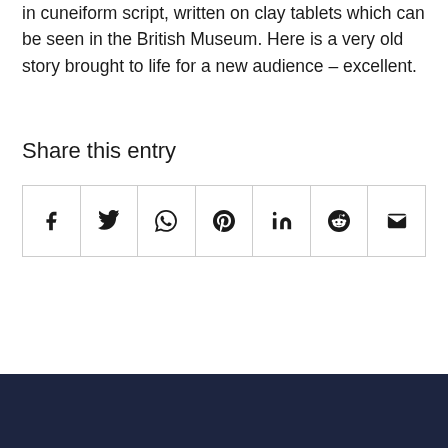in cuneiform script, written on clay tablets which can be seen in the British Museum. Here is a very old story brought to life for a new audience – excellent.
Share this entry
[Figure (other): A row of seven social media sharing buttons: Facebook, Twitter, WhatsApp, Pinterest, LinkedIn, Reddit, Email]